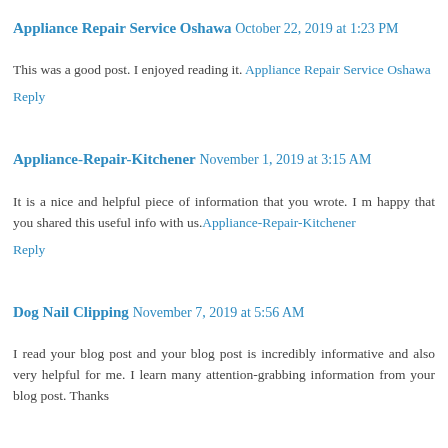Appliance Repair Service Oshawa October 22, 2019 at 1:23 PM
This was a good post. I enjoyed reading it. Appliance Repair Service Oshawa
Reply
Appliance-Repair-Kitchener November 1, 2019 at 3:15 AM
It is a nice and helpful piece of information that you wrote. I m happy that you shared this useful info with us.Appliance-Repair-Kitchener
Reply
Dog Nail Clipping November 7, 2019 at 5:56 AM
I read your blog post and your blog post is incredibly informative and also very helpful for me. I learn many attention-grabbing information from your blog post. Thanks